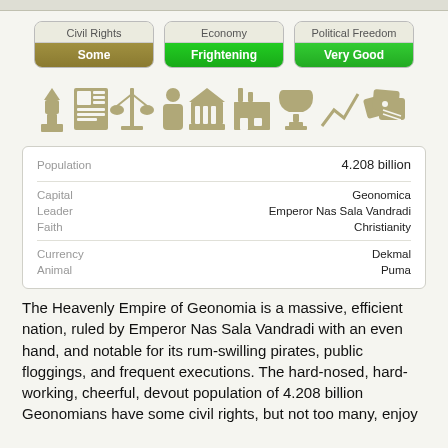[Figure (infographic): Three badge buttons: Civil Rights=Some (olive/dark yellow), Economy=Frightening (green), Political Freedom=Very Good (green)]
[Figure (infographic): Row of nation icons: person at podium, newspaper, scales of justice, person, building/temple, factory, trophy, graph/trend line, price tags]
| Key | Value |
| --- | --- |
| Population | 4.208 billion |
| Capital | Geonomica |
| Leader | Emperor Nas Sala Vandradi |
| Faith | Christianity |
| Currency | Dekmal |
| Animal | Puma |
The Heavenly Empire of Geonomia is a massive, efficient nation, ruled by Emperor Nas Sala Vandradi with an even hand, and notable for its rum-swilling pirates, public floggings, and frequent executions. The hard-nosed, hard-working, cheerful, devout population of 4.208 billion Geonomians have some civil rights, but not too many, enjoy the freedom to spend their money however they like...